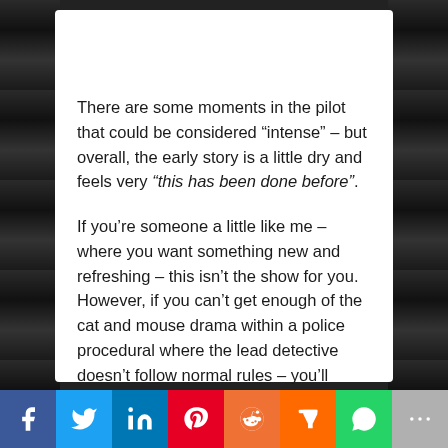There are some moments in the pilot that could be considered “intense” – but overall, the early story is a little dry and feels very “this has been done before”.
If you’re someone a little like me – where you want something new and refreshing – this isn’t the show for you. However, if you can’t get enough of the cat and mouse drama within a police procedural where the lead detective doesn’t follow normal rules – you’ll probably love it.
[Figure (infographic): Social sharing bar with icons for Facebook, Twitter, LinkedIn, Pinterest, Reddit, Mix, WhatsApp, and More]